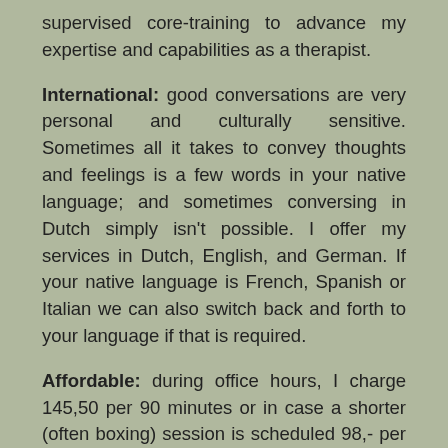supervised core-training to advance my expertise and capabilities as a therapist.
International: good conversations are very personal and culturally sensitive. Sometimes all it takes to convey thoughts and feelings is a few words in your native language; and sometimes conversing in Dutch simply isn't possible. I offer my services in Dutch, English, and German. If your native language is French, Spanish or Italian we can also switch back and forth to your language if that is required.
Affordable: during office hours, I charge 145,50 per 90 minutes or in case a shorter (often boxing) session is scheduled 98,- per 45-60 minutes. Furthermore additional charges will apply for sessions outside of the practice, like home visits within 15km region (15.-) as well as a fee for evening or weekend time slots (20.-). All prices are in euro and excluding taxes. Contact me for